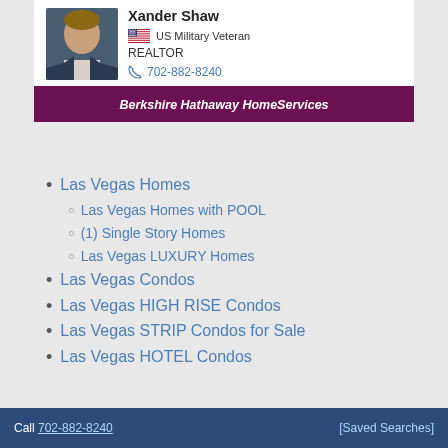[Figure (photo): Headshot photo of Xander Shaw, a man in a suit]
Xander Shaw
🇺🇸 US Military Veteran
REALTOR
📞 702-882-8240
Berkshire Hathaway HomeServices
Las Vegas Homes
Las Vegas Homes with POOL
(1) Single Story Homes
Las Vegas LUXURY Homes
Las Vegas Condos
Las Vegas HIGH RISE Condos
Las Vegas STRIP Condos for Sale
Las Vegas HOTEL Condos
Call 702-882-8240    [Saved Searches]